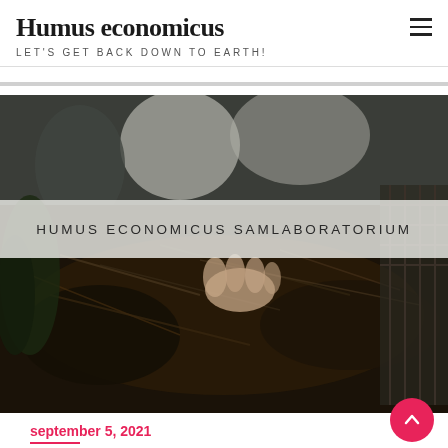Humus economicus — LET'S GET BACK DOWN TO EARTH!
[Figure (photo): People examining or handling dark compost/soil outdoors, with hands reaching into a pile of organic matter. A semi-transparent white band overlaid on the upper portion reads 'HUMUS ECONOMICUS SAMLABORATORIUM'.]
september 5, 2021